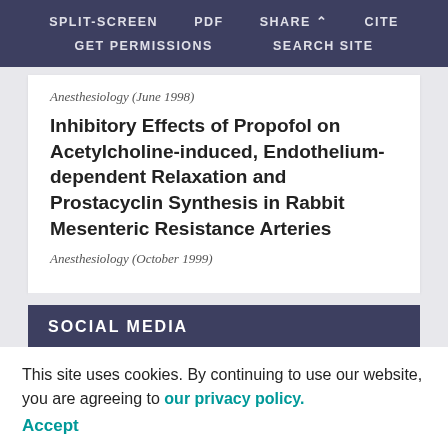SPLIT-SCREEN   PDF   SHARE   CITE   GET PERMISSIONS   SEARCH SITE
Anesthesiology (June 1998)
Inhibitory Effects of Propofol on Acetylcholine-induced, Endothelium-dependent Relaxation and Prostacyclin Synthesis in Rabbit Mesenteric Resistance Arteries
Anesthesiology (October 1999)
SOCIAL MEDIA
This site uses cookies. By continuing to use our website, you are agreeing to our privacy policy. Accept